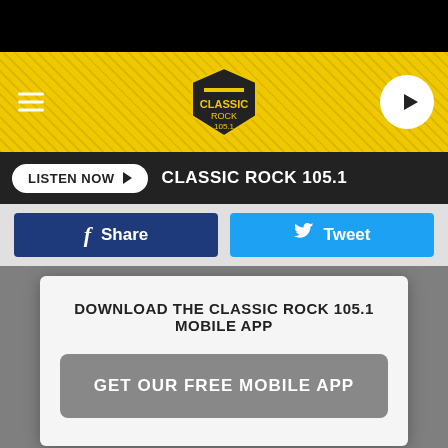[Figure (screenshot): Classic Rock 105.1 radio station website header with yellow and black textured banner, hamburger menu icon on left, Classic Rock 105.1 shield logo in center, and circular play button on right]
LISTEN NOW ▶   CLASSIC ROCK 105.1
[Figure (screenshot): Social sharing buttons row: blue Facebook Share button and blue Twitter Tweet button]
[Figure (screenshot): Modal popup: DOWNLOAD THE CLASSIC ROCK 105.1 MOBILE APP with GET OUR FREE MOBILE APP button]
broke up or said we would never make music again. Hope this clears it up."
The Dirt will premiere on Netflix on March 22, 2019. In